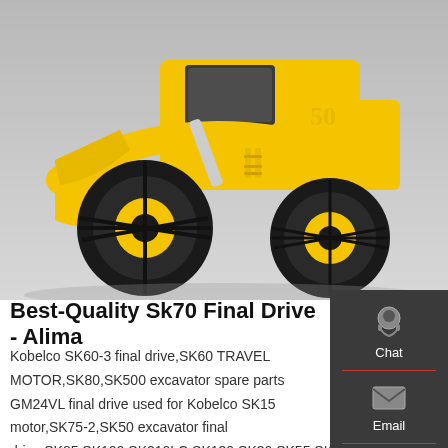[Figure (photo): Yellow wheel loader (front loader / construction machine) photographed from the front-right angle on a light grey background. The machine has large black tires with yellow rims, a yellow bucket at the front, and a cabin. The number 50 is visible on the side.]
Best-Quality Sk70 Final Drive - Ali...
Kobelco SK60-3 final drive,SK60 TRAVEL MOTOR,SK80,SK500 excavator spare parts GM24VL final drive used for Kobelco SK15 motor,SK75-2,SK50 excavator final drive,SK85,SK100,SK210LC,SK130,SK30,SK55,SK150,SK160,S Hitachi ...